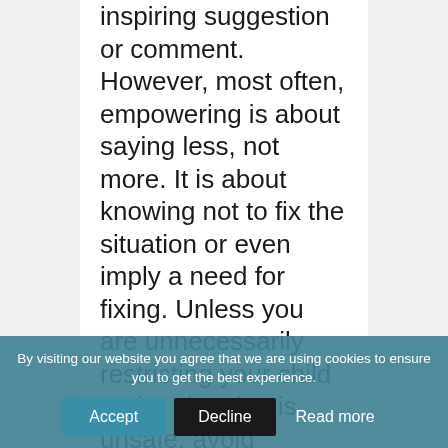inspiring suggestion or comment. However, most often, empowering is about saying less, not more. It is about knowing not to fix the situation or even imply a need for fixing. Unless you are unnecessarily restricting your child or the situation is unsafe, avoid changing reality. Your your attitude. Drama and pa...core one wol...
By visiting our website you agree that we are using cookies to ensure you to get the best experience.